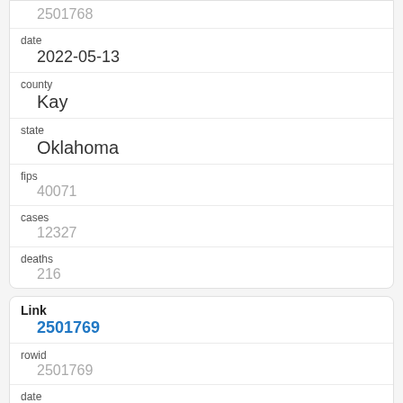2501768
date
2022-05-13
county
Kay
state
Oklahoma
fips
40071
cases
12327
deaths
216
Link
2501769
rowid
2501769
date
2022-05-13